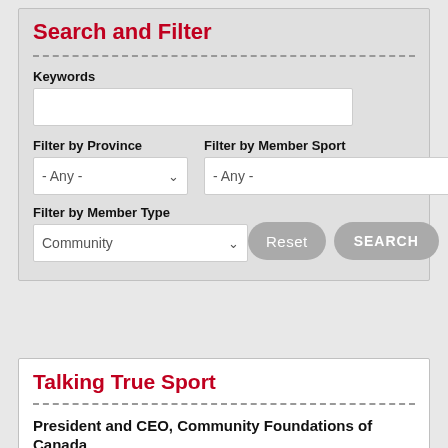Search and Filter
Keywords
Filter by Province
Filter by Member Sport
Filter by Member Type
Talking True Sport
President and CEO, Community Foundations of Canada
Monica Patten
"...